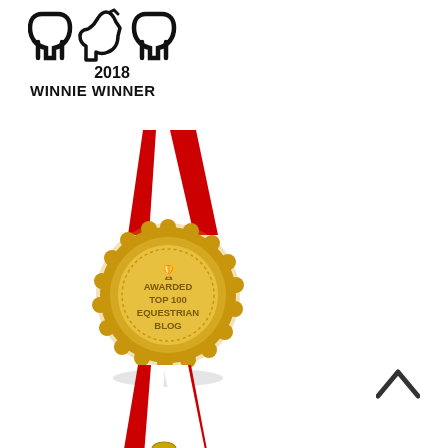[Figure (logo): 2018 Winnie Winner award logo with horse head and horseshoe shapes, text reads '2018 WINNIE WINNER']
[Figure (illustration): Gold medal with red and white ribbon, text reads 'AWARDED TOP 100 EQUESTRIAN BLOG' with trophy icon, scalloped edge medal with shadow]
[Figure (illustration): Partial view of a second gold medal with red and white ribbon, cropped at bottom of page]
[Figure (illustration): Dark chevron/caret up arrow symbol in top-right area]